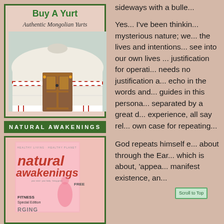[Figure (illustration): Advertisement for 'Buy A Yurt' showing a Mongolian yurt with ornate wooden door. Title reads 'Buy A Yurt' in green bold text, subtitle 'Authentic Mongolian Yurts' in italic.]
NATURAL AWAKENINGS
[Figure (photo): Natural Awakenings magazine cover showing 'natural awakenings' title text with 'HEALTHY LIVING HEALTHY PLANET' header, 'FITNESS Special Edition' label, and 'FREE' label. Pink cover with figure illustration.]
sideways with a bulle...
Yes... I've been thinkin... mysterious nature; we... the lives and intentions... see into our own lives ... justification for operati... needs no justification a... echo in the words and... guides in this persona... separated by a great d... experience, all say rel... own case for repeating...
God repeats himself e... about through the Ear... which is about, 'appea... manifest existence, an...